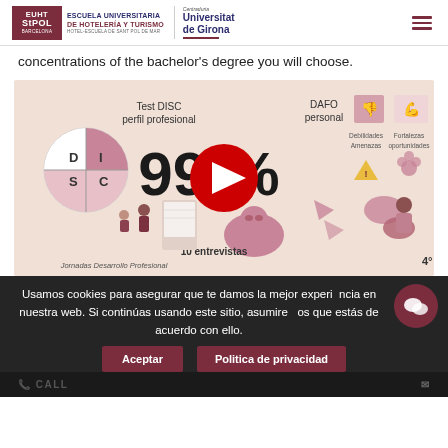[Figure (logo): EUHT StPOL - Escuela Universitaria de Hotelería y Turismo logo with Universitat de Girona logo]
concentrations of the bachelor's degree you will choose.
[Figure (screenshot): YouTube video thumbnail showing career development infographic with DISC personality test, DAFO personal, 99%, 10 entrevistas, Jornadas Desarrollo Profesional illustrations. Red YouTube play button overlay.]
Usamos cookies para asegurar que te damos la mejor experiencia en nuestra web. Si continúas usando este sitio, asumiremos que estás de acuerdo con ello.
Aceptar
Politica de privacidad